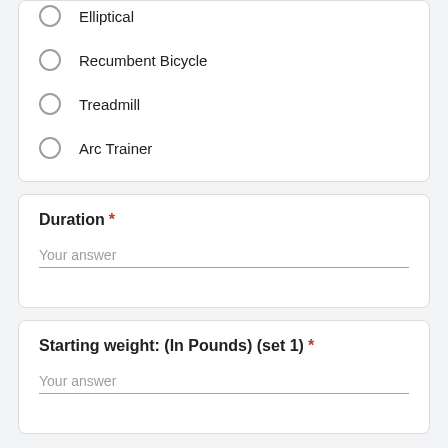Elliptical
Recumbent Bicycle
Treadmill
Arc Trainer
Duration *
Your answer
Starting weight: (In Pounds) (set 1) *
Your answer